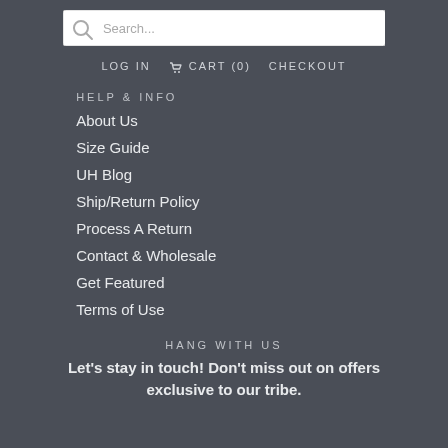[Figure (screenshot): Search bar with magnifier icon and placeholder text 'Search...']
LOG IN  🛒 CART (0)  CHECKOUT
HELP & INFO
About Us
Size Guide
UH Blog
Ship/Return Policy
Process A Return
Contact & Wholesale
Get Featured
Terms of Use
HANG WITH US
Let's stay in touch! Don't miss out on offers exclusive to our tribe.